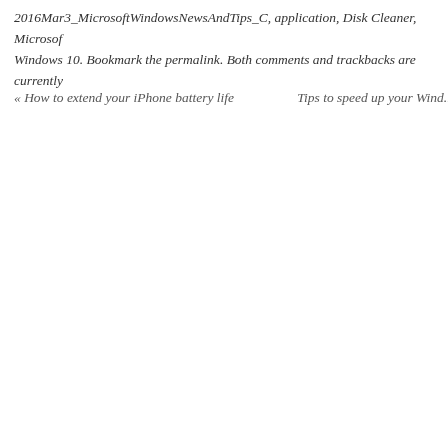2016Mar3_MicrosoftWindowsNewsAndTips_C, application, Disk Cleaner, Microsoft Windows 10. Bookmark the permalink. Both comments and trackbacks are currently
« How to extend your iPhone battery life    Tips to speed up your Wind...